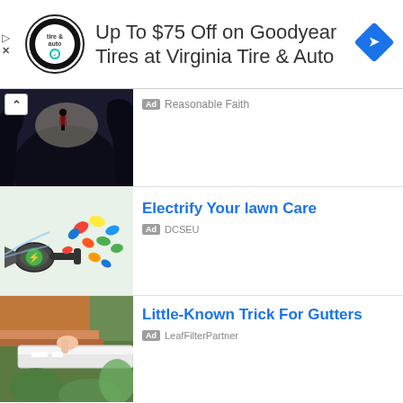[Figure (screenshot): Top banner advertisement for Virginia Tire & Auto with circular logo, headline 'Up To $75 Off on Goodyear Tires at Virginia Tire & Auto', and blue diamond navigation icon]
[Figure (screenshot): Outdoor cave/mountain photo thumbnail with person silhouette, Ad badge and 'Reasonable Faith' label]
[Figure (screenshot): Illustration of electric leaf blower with colorful leaves on light green background]
Electrify Your lawn Care
Ad DCSEU
[Figure (photo): Photo of gutters being cleaned/maintained with orange and white elements]
Little-Known Trick For Gutters
Ad LeafFilterPartner